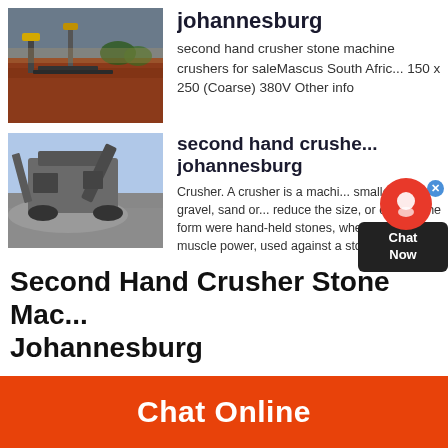[Figure (photo): Aerial view of a mining site with yellow excavator machinery and conveyor belts on red earth terrain]
johannesburg
second hand crusher stone machine crushers for saleMascus South Africa 150 x 250 (Coarse) 380V Other info
[Figure (photo): Large gray stone crusher machine with excavator arm against a blue sky, with rubble/gravel in foreground]
second hand crusher johannesburg
Crusher. A crusher is a machine smaller rocks, gravel, sand or reduce the size, or change the form were hand-held stones, where the w to muscle power, used against a sto
Second Hand Crusher Stone Mac Johannesburg
Chat Online